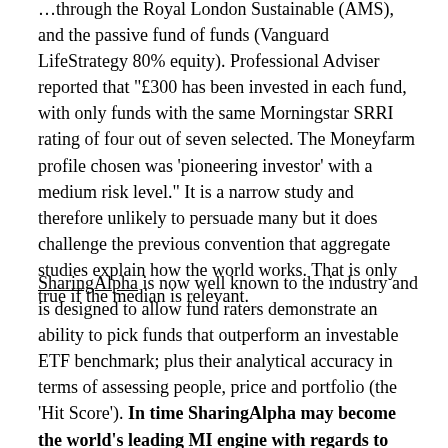…through the Royal London Sustainable (AMS), and the passive fund of funds (Vanguard LifeStrategy 80% equity). Professional Adviser reported that "£300 has been invested in each fund, with only funds with the same Morningstar SRRI rating of four out of seven selected. The Moneyfarm profile chosen was 'pioneering investor' with a medium risk level." It is a narrow study and therefore unlikely to persuade many but it does challenge the previous convention that aggregate studies explain how the world works. That is only true if the median is relevant.
SharingAlpha is now well known to the industry and is designed to allow fund raters demonstrate an ability to pick funds that outperform an investable ETF benchmark; plus their analytical accuracy in terms of assessing people, price and portfolio (the 'Hit Score'). In time SharingAlpha may become the world's leading MI engine with regards to active fund selection. It's strength is its global breadth…